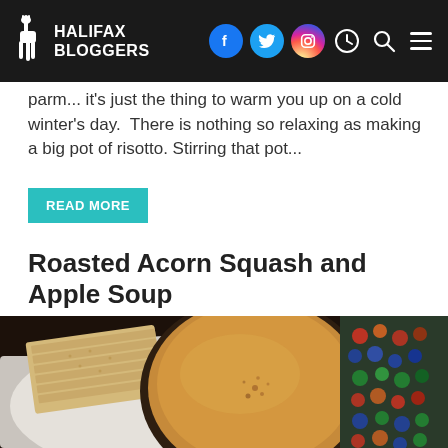HALIFAX BLOGGERS
parm... it's just the thing to warm you up on a cold winter's day. There is nothing so relaxing as making a big pot of risotto. Stirring that pot...
READ MORE
Roasted Acorn Squash and Apple Soup
[Figure (photo): A bowl of creamy roasted acorn squash and apple soup, topped with a sprinkle of spice, accompanied by crackers on a white cloth, with a colorful crocheted blanket in the background.]